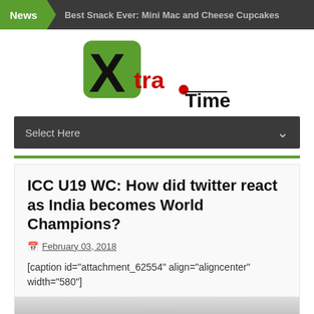News | Best Snack Ever: Mini Mac and Cheese Cupcakes
[Figure (logo): XtraTime logo with large black X on green square background and 'tra' text in red and black with a red dot, followed by 'Time' in black]
Select Here
ICC U19 WC: How did twitter react as India becomes World Champions?
February 03, 2018
[caption id="attachment_62554" align="aligncenter" width="580"]
[Figure (photo): Partially visible image at bottom of page]